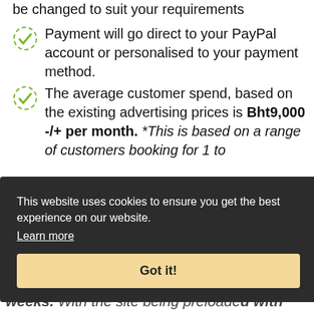be changed to suit your requirements
Payment will go direct to your PayPal account or personalised to your payment method.
The average customer spend, based on the existing advertising prices is Bht9,000 -/+ per month. *This is based on a range of customers booking for 1 to 12 months and with the published
y is important to us
in most cases you can achieve a ROI within 8 weeks. With the site being preloaded with
This website uses cookies to ensure you get the best experience on our website.
Learn more
Got it!